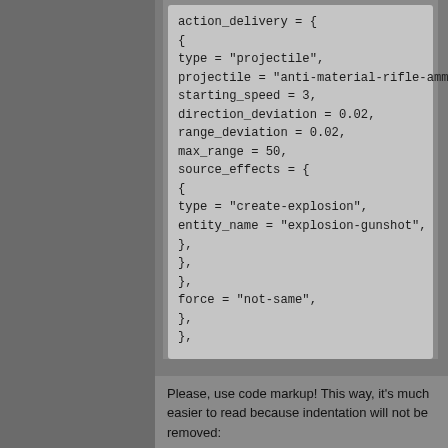action_delivery = {
{
type = "projectile",
projectile = "anti-material-rifle-ammo-3",
starting_speed = 3,
direction_deviation = 0.02,
range_deviation = 0.02,
max_range = 50,
source_effects = {
{
type = "create-explosion",
entity_name = "explosion-gunshot",
},
},
},
force = "not-same",
},
},
Please, use code markup! This way, it's much easier to read because indentation will not be removed: